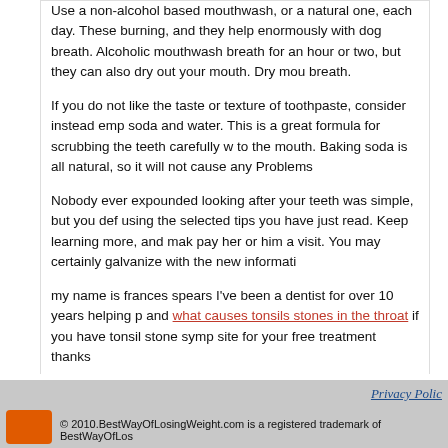Use a non-alcohol based mouthwash, or a natural one, each day. These burning, and they help enormously with dog breath. Alcoholic mouthwash breath for an hour or two, but they can also dry out your mouth. Dry mou breath.
If you do not like the taste or texture of toothpaste, consider instead emp soda and water. This is a great formula for scrubbing the teeth carefully w to the mouth. Baking soda is all natural, so it will not cause any Problems
Nobody ever expounded looking after your teeth was simple, but you def using the selected tips you have just read. Keep learning more, and mak pay her or him a visit. You may certainly galvanize with the new informati
my name is frances spears I've been a dentist for over 10 years helping p and what causes tonsils stones in the throat if you have tonsil stone symp site for your free treatment thanks
Posted in Anti Aging | Tags: tonsil stones specialist | No Comments »
« Older Entries
Privacy Polic © 2010.BestWayOfLosingWeight.com is a registered trademark of BestWayOfLos